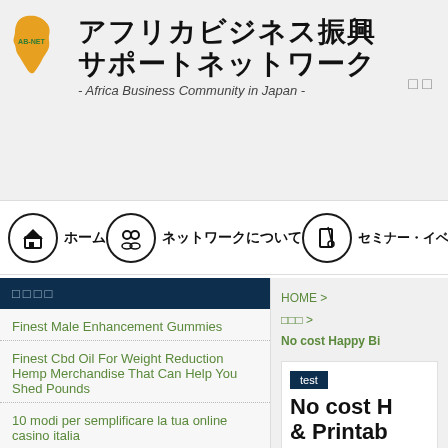[Figure (logo): AB-NET logo with Africa map shape in orange/yellow, with green AB-NET text]
アフリカビジネス振興サポートネットワーク - Africa Business Community in Japan -
ホーム　ネットワークについて　セミナー・イベ
□□□□
HOME > □□□ > No cost Happy Bi
Finest Male Enhancement Gummies
Finest Cbd Oil For Weight Reduction Hemp Merchandise That Can Help You Shed Pounds
10 modi per semplificare la tua online casino italia
test
No cost H & Printab
□□□□□□□□□